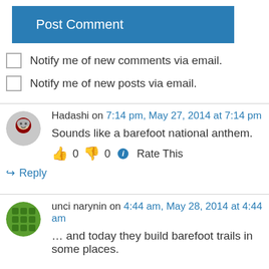[Figure (other): Blue 'Post Comment' button]
Notify me of new comments via email.
Notify me of new posts via email.
Hadashi on 7:14 pm, May 27, 2014 at 7:14 pm
Sounds like a barefoot national anthem.
👍 0 👎 0 ℹ Rate This
↪ Reply
unci narynin on 4:44 am, May 28, 2014 at 4:44 am
… and today they build barefoot trails in some places.